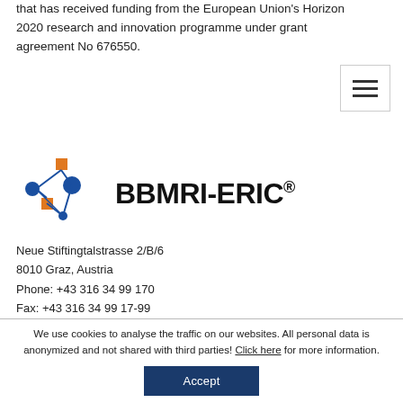that has received funding from the European Union's Horizon 2020 research and innovation programme under grant agreement No 676550.
[Figure (logo): BBMRI-ERIC logo with network diagram of blue circles and orange squares connected by lines, next to bold text BBMRI-ERIC with registered trademark symbol]
Neue Stiftingtalstrasse 2/B/6
8010 Graz, Austria
Phone: +43 316 34 99 170
Fax: +43 316 34 99 17-99
Mail: contact@bbmri-eric.eu
We use cookies to analyse the traffic on our websites. All personal data is anonymized and not shared with third parties! Click here for more information.
Accept